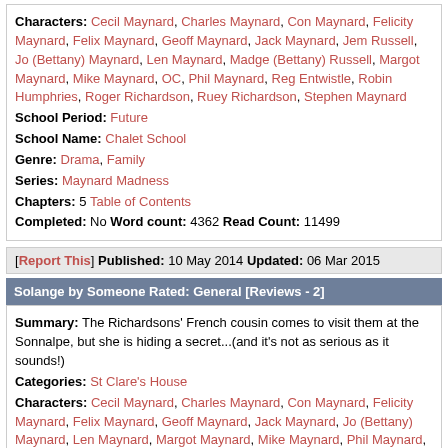Characters: Cecil Maynard, Charles Maynard, Con Maynard, Felicity Maynard, Felix Maynard, Geoff Maynard, Jack Maynard, Jem Russell, Jo (Bettany) Maynard, Len Maynard, Madge (Bettany) Russell, Margot Maynard, Mike Maynard, OC, Phil Maynard, Reg Entwistle, Robin Humphries, Roger Richardson, Ruey Richardson, Stephen Maynard
School Period: Future
School Name: Chalet School
Genre: Drama, Family
Series: Maynard Madness
Chapters: 5 Table of Contents
Completed: No Word count: 4362 Read Count: 11499
[Report This] Published: 10 May 2014 Updated: 06 Mar 2015
Solange by Someone Rated: General [Reviews - 2]
Summary: The Richardsons' French cousin comes to visit them at the Sonnalpe, but she is hiding a secret...(and it's not as serious as it sounds!)
Categories: St Clare's House
Characters: Cecil Maynard, Charles Maynard, Con Maynard, Felicity Maynard, Felix Maynard, Geoff Maynard, Jack Maynard, Jo (Bettany) Maynard, Len Maynard, Margot Maynard, Mike Maynard, Phil Maynard, Reg Entwistle, Roger Richardson, Ruey Richardson, Stephen Maynard
School Period: Future
School Name: Chalet School
Genre: Humour
Series: Maynard Madness
Chapters: 3 Table of Contents
Completed: No Word count: 1208 Read Count: 5301